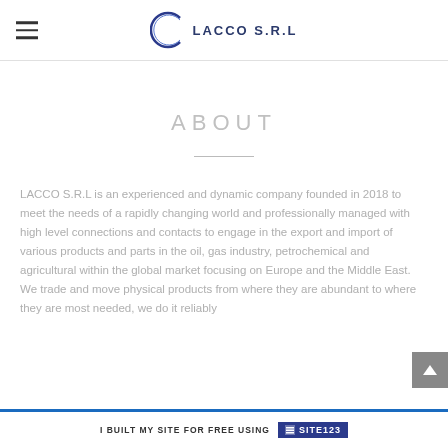LACCO S.R.L
ABOUT
LACCO S.R.L is an experienced and dynamic company founded in 2018 to meet the needs of a rapidly changing world and professionally managed with high level connections and contacts to engage in the export and import of various products and parts in the oil, gas industry, petrochemical and agricultural within the global market focusing on Europe and the Middle East. We trade and move physical products from where they are abundant to where they are most needed, we do it reliably
I BUILT MY SITE FOR FREE USING SITE123